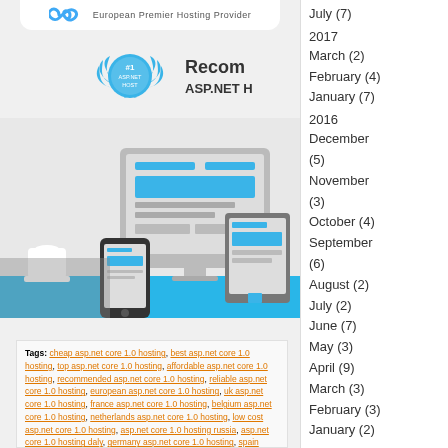[Figure (logo): Infinity loop logo with text 'European Premier Hosting Provider']
[Figure (illustration): #1 ASP.NET HOST award badge and 'Recommended ASP.NET H...' text]
[Figure (illustration): Responsive web design illustration with monitor, tablet, and smartphone devices on blue background]
Tags: cheap asp.net core 1.0 hosting, best asp.net core 1.0 hosting, top asp.net core 1.0 hosting, affordable asp.net core 1.0 hosting, recommended asp.net core 1.0 hosting, reliable asp.net core 1.0 hosting, european asp.net core 1.0 hosting, uk asp.net core 1.0 hosting, france asp.net core 1.0 hosting, belgium asp.net core 1.0 hosting, netherlands asp.net core 1.0 hosting, low cost asp.net core 1.0 hosting, asp.net core 1.0 hosting russia, asp.net core 1.0 hosting daly, germany asp.net core 1.0 hosting, spain asp.net core 1.0 hosting, asp.net core 1.0 hosting finland, asp.net core 1.0 hosting noway, asp.net core 1.0 hosting switzerland, asp.net core 1.0 hosting austria, asp.net core 1.0 hosting denmark, asp.net core 1.0 hosting
July (7)
2017
March (2)
February (4)
January (7)
2016
December (5)
November (3)
October (4)
September (6)
August (2)
July (2)
June (7)
May (3)
April (9)
March (3)
February (3)
January (2)
2015
November